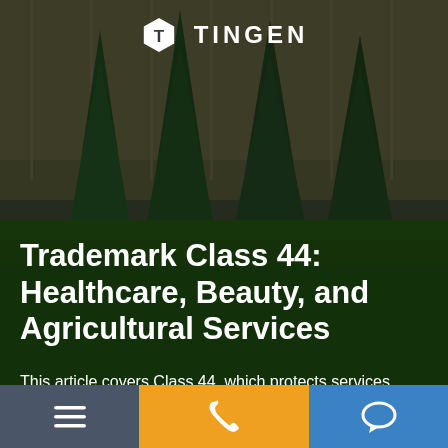[Figure (photo): Background photo of green lawn and tall evergreen shrubs against a wooden fence, with dark overlay. Tingen law firm logo (hexagonal T icon and TINGEN wordmark) at top center.]
Trademark Class 44: Healthcare, Beauty, and Agricultural Services
This article covers Class 44, which protects services including healthcare, hygiene and beauty, and specific agricultural jobs such as gardening and animal breeding.
Call Us: (804) 477-1720
[Figure (infographic): Bottom navigation bar with three sections: left gray section with hamburger menu icon, center orange section with phone/call icon, right blue section with chat bubble icon.]